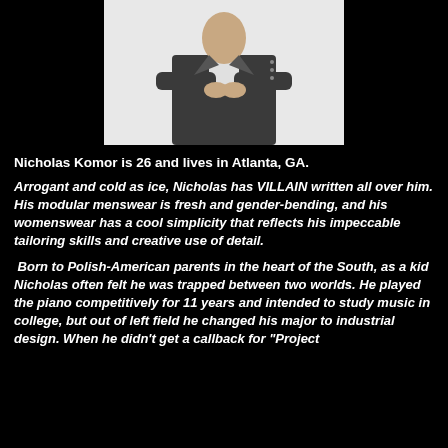[Figure (photo): Man in dark suit with arms crossed against white background]
Nicholas Komor is 26 and lives in Atlanta, GA.
Arrogant and cold as ice, Nicholas has VILLAIN written all over him. His modular menswear is fresh and gender-bending, and his womenswear has a cool simplicity that reflects his impeccable tailoring skills and creative use of detail.
Born to Polish-American parents in the heart of the South, as a kid Nicholas often felt he was trapped between two worlds. He played the piano competitively for 11 years and intended to study music in college, but out of left field he changed his major to industrial design. When he didn't get a callback for "Project